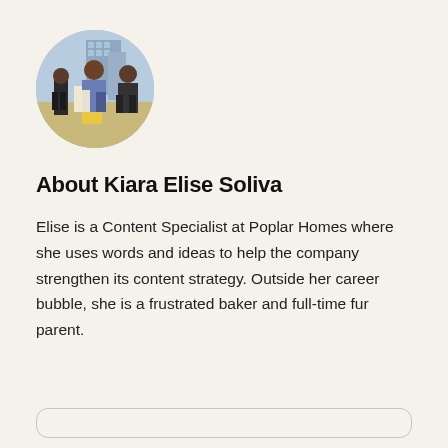[Figure (photo): Circular profile photo of Kiara Elise Soliva, a woman outdoors on a street with buildings in background]
About Kiara Elise Soliva
Elise is a Content Specialist at Poplar Homes where she uses words and ideas to help the company strengthen its content strategy. Outside her career bubble, she is a frustrated baker and full-time fur parent.